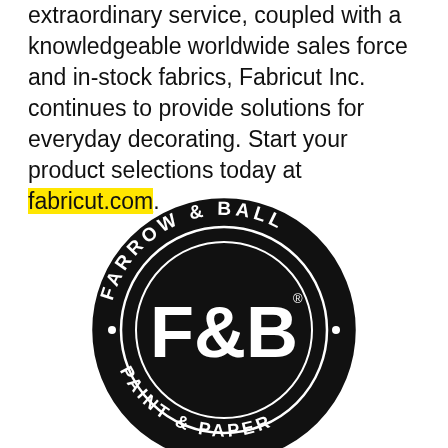extraordinary service, coupled with a knowledgeable worldwide sales force and in-stock fabrics, Fabricut Inc. continues to provide solutions for everyday decorating. Start your product selections today at fabricut.com.
[Figure (logo): Farrow & Ball circular logo — black circle with white text reading 'FARROW & BALL' on the outer ring and 'PAINT & PAPER' on the lower ring, with 'F&B' monogram in large white letters in the center inner circle.]